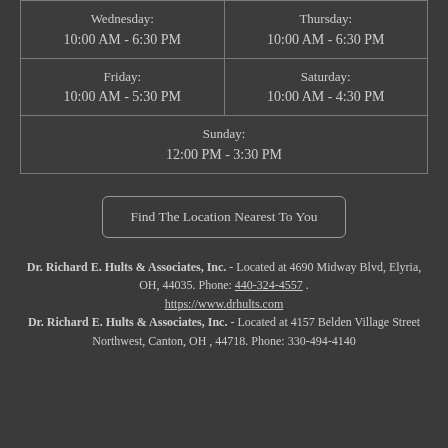| Wednesday:
10:00 AM - 6:30 PM | Thursday:
10:00 AM - 6:30 PM |
| Friday:
10:00 AM - 5:30 PM | Saturday:
10:00 AM - 4:30 PM |
| Sunday:
12:00 PM - 3:30 PM |  |
Find The Location Nearest To You
Dr. Richard E. Hults & Associates, Inc. - Located at 4690 Midway Blvd, Elyria, OH, 44035. Phone: 440-324-4557 . https://www.drhults.com Dr. Richard E. Hults & Associates, Inc. - Located at 4157 Belden Village Street Northwest, Canton, OH , 44718. Phone: 330-494-4140